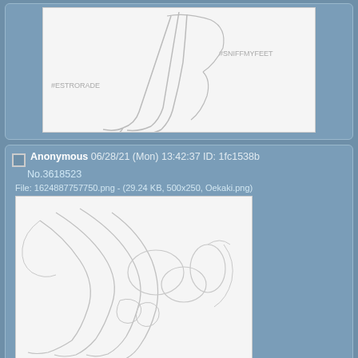[Figure (illustration): Sketch drawing of creature feet/legs with hashtags #ESTRORADE and #SNIFFMYFEET visible]
Anonymous 06/28/21 (Mon) 13:42:37 ID: 1fc1538b
No.3618523
File: 1624887757750.png - (29.24 KB, 500x250, Oekaki.png)
[Figure (illustration): Sketch drawing of creature claws/feet, rough line art style]
Anonymous 06/28/21 (Mon) 14:13:56 ID: 1fc1538b
No.3618524
File: 1624889636234.png - (396.74 KB, 1200x1600, AverageKarenRace.png)
[Figure (illustration): Sketch drawing of creature/bird head with eye visible, line art style]